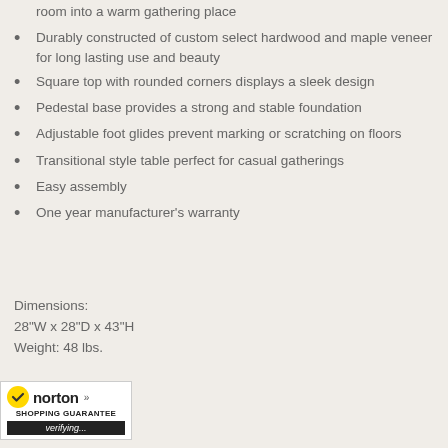room into a warm gathering place
Durably constructed of custom select hardwood and maple veneer for long lasting use and beauty
Square top with rounded corners displays a sleek design
Pedestal base provides a strong and stable foundation
Adjustable foot glides prevent marking or scratching on floors
Transitional style table perfect for casual gatherings
Easy assembly
One year manufacturer's warranty
Dimensions:
28"W x 28"D x 43"H
Weight: 48 lbs.
[Figure (logo): Norton Shopping Guarantee badge with yellow checkmark, bold 'norton' text, 'SHOPPING GUARANTEE' subtitle, and 'verifying...' status bar]